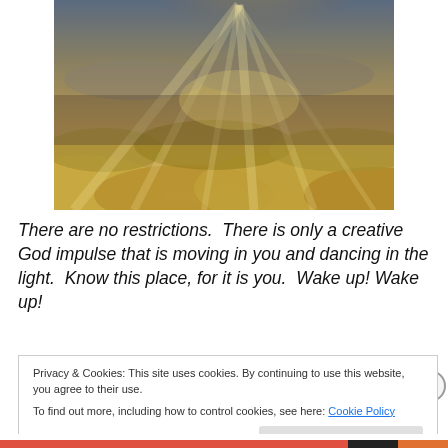[Figure (photo): Aerial photograph of clouds with sunbeams (crepuscular rays) breaking through, golden light illuminating cloud tops, viewed from above]
There are no restrictions.  There is only a creative God impulse that is moving in you and dancing in the light.  Know this place, for it is you.  Wake up! Wake up!
Privacy & Cookies: This site uses cookies. By continuing to use this website, you agree to their use.
To find out more, including how to control cookies, see here: Cookie Policy
Close and accept